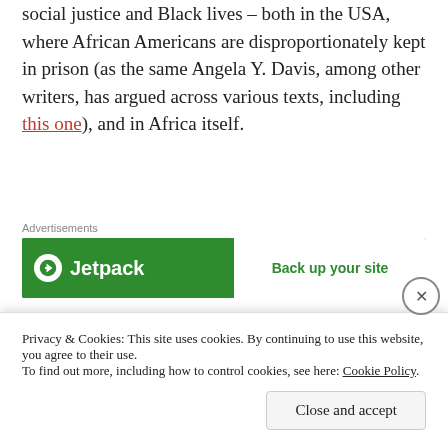social justice and Black lives – both in the USA, where African Americans are disproportionately kept in prison (as the same Angela Y. Davis, among other writers, has argued across various texts, including this one), and in Africa itself.
[Figure (other): Jetpack advertisement banner: green background with Jetpack logo and 'Back up your site' call to action]
However, that Amy offers these statistics at the point of her arrest would seem to suggest that she does not feel
Privacy & Cookies: This site uses cookies. By continuing to use this website, you agree to their use. To find out more, including how to control cookies, see here: Cookie Policy